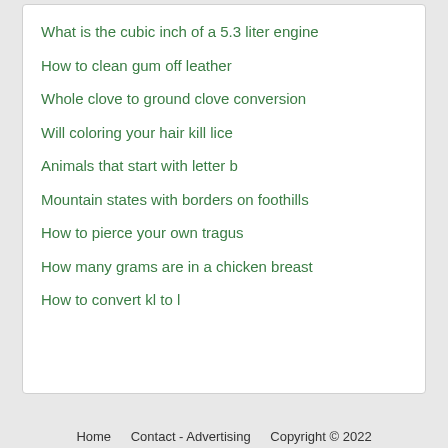What is the cubic inch of a 5.3 liter engine
How to clean gum off leather
Whole clove to ground clove conversion
Will coloring your hair kill lice
Animals that start with letter b
Mountain states with borders on foothills
How to pierce your own tragus
How many grams are in a chicken breast
How to convert kl to l
Home   Contact - Advertising   Copyright © 2022